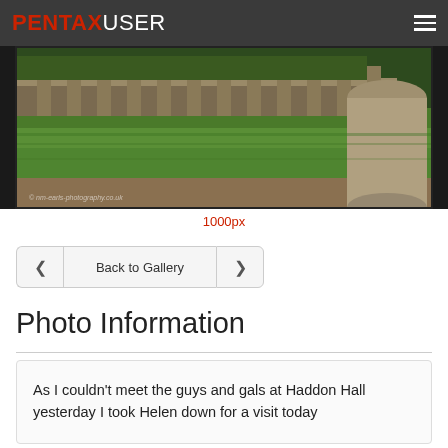PENTAXUSER
[Figure (photo): Garden photo showing a green lawn with stone balustrade and a cylindrical stone pillar, with a watermark reading copyright nm-earls-photography.co.uk]
1000px
< Back to Gallery >
Photo Information
As I couldn't meet the guys and gals at Haddon Hall yesterday I took Helen down for a visit today